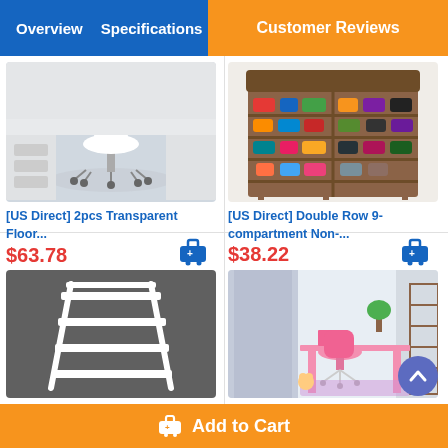Overview  Specifications  Customer Reviews
[Figure (photo): White office chair with wheels on a floor mat, in front of a white desk with drawers]
[US Direct] 2pcs Transparent Floor...
$63.78
[Figure (photo): Double row shoe rack with brown fabric cover, holding colorful shoes on multiple shelves]
[US Direct] Double Row 9-compartment Non-...
$38.22
[Figure (photo): White 4-tier ladder style plant stand on dark gray background]
[US Direct] 4-tier Plant Stands Ladder Style...
[Figure (photo): Pink kids student desk and chair set in a room with curtains and shelves]
[US Direct] Kids Student Desks Chairs Set 66 x ...
Add to Cart